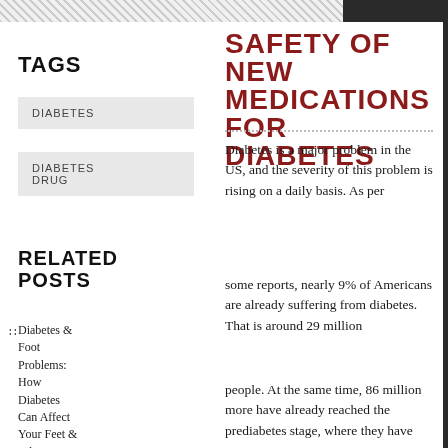SAFETY OF NEW MEDICATIONS FOR DIABETES
TAGS
DIABETES
DIABETES DRUG
RELATED POSTS
Diabetes & Foot Problems: How Diabetes Can Affect Your Feet & What You Can Do
Diabetes is a major problem in the US, and the severity of this problem is rising on a daily basis. As per
some reports, nearly 9% of Americans are already suffering from diabetes. That is around 29 million
people. At the same time, 86 million more have already reached the prediabetes stage, where they have
high blood sugar but not high enough to suffer from type 2 diabetes.
The trend seems likely to continue due to unhealthy